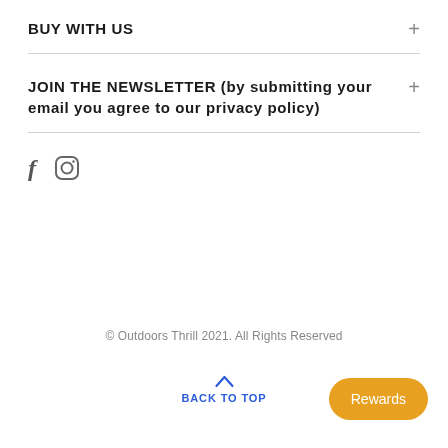BUY WITH US
JOIN THE NEWSLETTER (by submitting your email you agree to our privacy policy)
[Figure (other): Social media icons: Facebook (f) and Instagram (circle with rounded square)]
© Outdoors Thrill 2021. All Rights Reserved
BACK TO TOP
Rewards